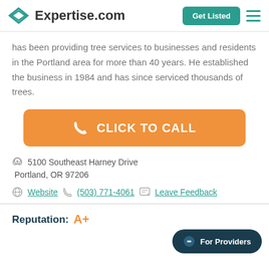Expertise.com | Get Listed
has been providing tree services to businesses and residents in the Portland area for more than 40 years. He established the business in 1984 and has since serviced thousands of trees.
[Figure (other): Orange 'CLICK TO CALL' button with phone icon]
5100 Southeast Harney Drive
Portland, OR 97206
Website | (503) 771-4061 | Leave Feedback
Reputation: A+